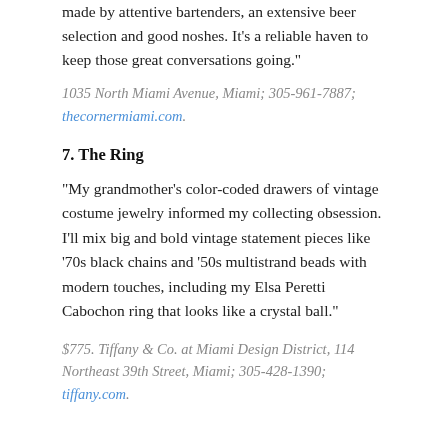made by attentive bartenders, an extensive beer selection and good noshes. It’s a reliable haven to keep those great conversations going.”
1035 North Miami Avenue, Miami; 305-961-7887; thecornermiami.com.
7. The Ring
“My grandmother’s color-coded drawers of vintage costume jewelry informed my collecting obsession. I’ll mix big and bold vintage statement pieces like ’70s black chains and ’50s multistrand beads with modern touches, including my Elsa Peretti Cabochon ring that looks like a crystal ball.”
$775. Tiffany & Co. at Miami Design District, 114 Northeast 39th Street, Miami; 305-428-1390; tiffany.com.